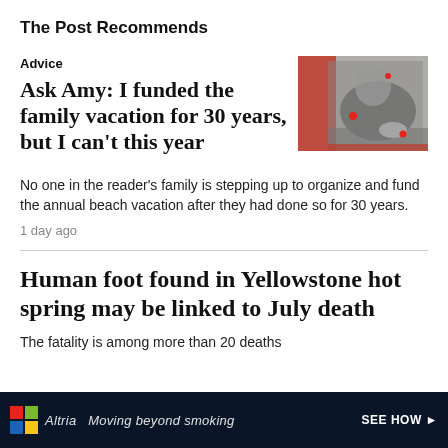The Post Recommends
Advice
Ask Amy: I funded the family vacation for 30 years, but I can't this year
[Figure (photo): Black and white photo of a person writing at a desk, with red graphic overlay elements]
No one in the reader's family is stepping up to organize and fund the annual beach vacation after they had done so for 30 years.
1 day ago
Human foot found in Yellowstone hot spring may be linked to July death
The fatality is among more than 20 deaths
[Figure (infographic): Altria advertisement banner: 'Moving beyond smoking' with SEE HOW link and colorful grid logo, dark blue background with smoke imagery]